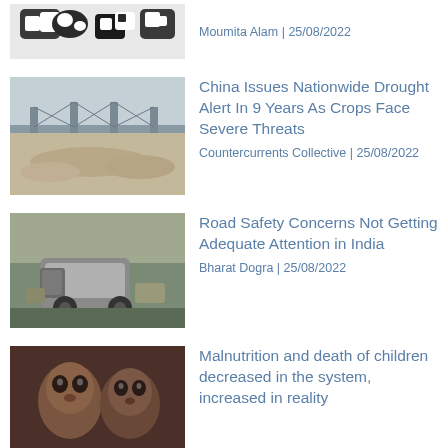[Figure (photo): Black and white animal photo (appears to be cows)]
Moumita Alam | 25/08/2022
[Figure (photo): Bridge over dry riverbed]
China Issues Nationwide Drought Alert In 9 Years As Crops Face Severe Threats
Countercurrents Collective | 25/08/2022
[Figure (photo): Crashed vehicle on roadside]
Road Safety Concerns Not Getting Adequate Attention in India
Bharat Dogra | 25/08/2022
[Figure (photo): Malnourished children]
Malnutrition and death of children decreased in the system, increased in reality
Shirish Khare | 25/08/2022
Lok Morcha Punjab undertakes campaign exposing 75th anniversary of 1947 Independence